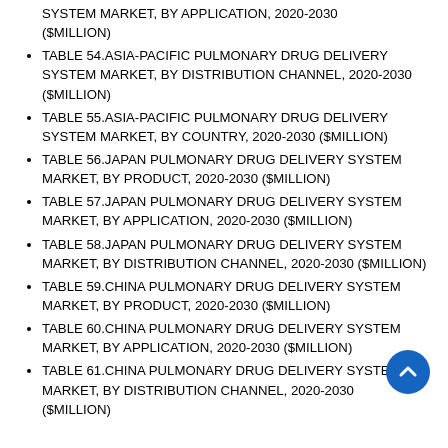SYSTEM MARKET, BY APPLICATION, 2020-2030 ($MILLION)
TABLE 54.ASIA-PACIFIC PULMONARY DRUG DELIVERY SYSTEM MARKET, BY DISTRIBUTION CHANNEL, 2020-2030 ($MILLION)
TABLE 55.ASIA-PACIFIC PULMONARY DRUG DELIVERY SYSTEM MARKET, BY COUNTRY, 2020-2030 ($MILLION)
TABLE 56.JAPAN PULMONARY DRUG DELIVERY SYSTEM MARKET, BY PRODUCT, 2020-2030 ($MILLION)
TABLE 57.JAPAN PULMONARY DRUG DELIVERY SYSTEM MARKET, BY APPLICATION, 2020-2030 ($MILLION)
TABLE 58.JAPAN PULMONARY DRUG DELIVERY SYSTEM MARKET, BY DISTRIBUTION CHANNEL, 2020-2030 ($MILLION)
TABLE 59.CHINA PULMONARY DRUG DELIVERY SYSTEM MARKET, BY PRODUCT, 2020-2030 ($MILLION)
TABLE 60.CHINA PULMONARY DRUG DELIVERY SYSTEM MARKET, BY APPLICATION, 2020-2030 ($MILLION)
TABLE 61.CHINA PULMONARY DRUG DELIVERY SYSTEM MARKET, BY DISTRIBUTION CHANNEL, 2020-2030 ($MILLION)